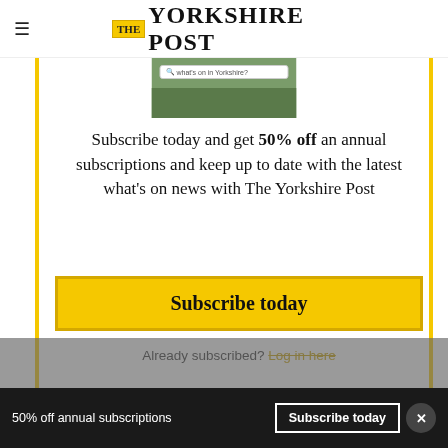THE YORKSHIRE POST
[Figure (screenshot): Screenshot of Yorkshire Post website showing a search bar with 'what's on in Yorkshire?' placeholder text and a grassy field image below]
Subscribe today and get 50% off an annual subscriptions and keep up to date with the latest what's on news with The Yorkshire Post
Subscribe today
Already subscribed? Log in here
50% off annual subscriptions  Subscribe today  ×